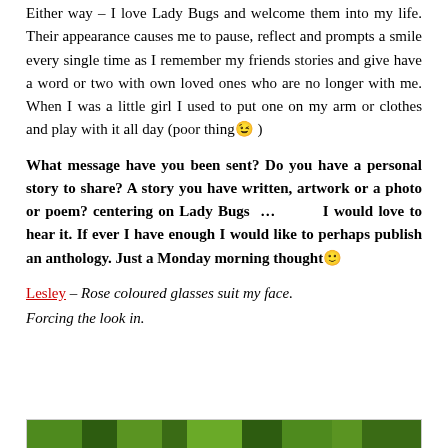Either way – I love Lady Bugs and welcome them into my life. Their appearance causes me to pause, reflect and prompts a smile every single time as I remember my friends stories and give have a word or two with own loved ones who are no longer with me. When I was a little girl I used to put one on my arm or clothes and play with it all day (poor thing😉 )
What message have you been sent? Do you have a personal story to share? A story you have written, artwork or a photo or poem? centering on Lady Bugs …        I would love to hear it. If ever I have enough I would like to perhaps publish an anthology. Just a Monday morning thought🙂
Lesley – Rose coloured glasses suit my face. Forcing the look in.
[Figure (photo): Green foliage image strip at the bottom of the page]